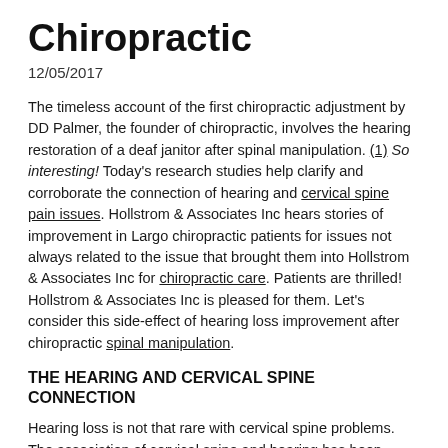Chiropractic
12/05/2017
The timeless account of the first chiropractic adjustment by DD Palmer, the founder of chiropractic, involves the hearing restoration of a deaf janitor after spinal manipulation. (1) So interesting! Today's research studies help clarify and corroborate the connection of hearing and cervical spine pain issues. Hollstrom & Associates Inc hears stories of improvement in Largo chiropractic patients for issues not always related to the issue that brought them into Hollstrom & Associates Inc for chiropractic care. Patients are thrilled! Hollstrom & Associates Inc is pleased for them. Let's consider this side-effect of hearing loss improvement after chiropractic spinal manipulation.
THE HEARING AND CERVICAL SPINE CONNECTION
Hearing loss is not that rare with cervical spine problems. The association of cervical spine and hearing has been considered in the medical publications for years and years. In 1994, one